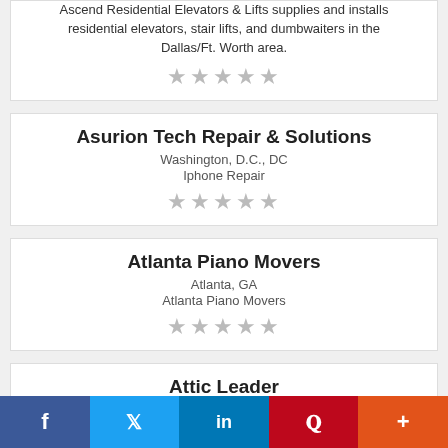Ascend Residential Elevators & Lifts supplies and installs residential elevators, stair lifts, and dumbwaiters in the Dallas/Ft. Worth area.
★★★★★
Asurion Tech Repair & Solutions
Washington, D.C., DC
Iphone Repair
★★★★★
Atlanta Piano Movers
Atlanta, GA
Atlanta Piano Movers
★★★★★
Attic Leader
f  🐦  in  P  +